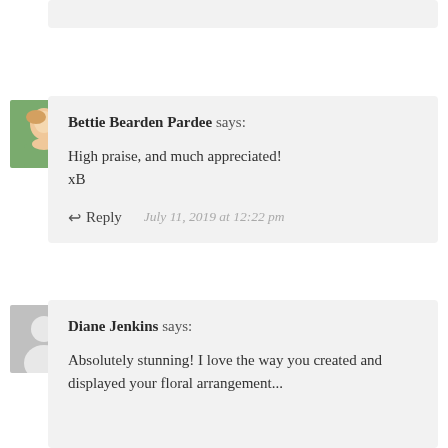[Figure (photo): Partial top comment block (cut off at top of page)]
[Figure (photo): Avatar photo of Bettie Bearden Pardee, a woman in a green top, smiling]
Bettie Bearden Pardee says:
High praise, and much appreciated! xB
Reply  July 11, 2019 at 12:22 pm
[Figure (illustration): Generic gray avatar silhouette placeholder for Diane Jenkins]
Diane Jenkins says:
Absolutely stunning! I love the way you created and displayed your floral arrangement...